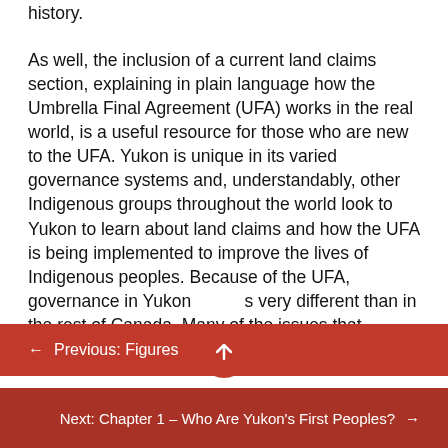history.
As well, the inclusion of a current land claims section, explaining in plain language how the Umbrella Final Agreement (UFA) works in the real world, is a useful resource for those who are new to the UFA. Yukon is unique in its varied governance systems and, understandably, other Indigenous groups throughout the world look to Yukon to learn about land claims and how the UFA is being implemented to improve the lives of Indigenous peoples. Because of the UFA, governance in Yukon is very different than in the rest of Canada. Many of the issues that
← Previous: Figures
Next: Chapter 1 – Who Are Yukon's First Peoples? →